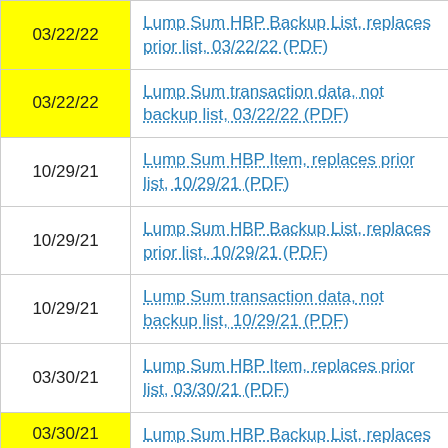| Date | Document |
| --- | --- |
| 03/22/22 | Lump Sum HBP Backup List, replaces prior list, 03/22/22 (PDF) |
| 03/22/22 | Lump Sum transaction data, not backup list, 03/22/22 (PDF) |
| 10/29/21 | Lump Sum HBP Item, replaces prior list, 10/29/21 (PDF) |
| 10/29/21 | Lump Sum HBP Backup List, replaces prior list, 10/29/21 (PDF) |
| 10/29/21 | Lump Sum transaction data, not backup list, 10/29/21 (PDF) |
| 03/30/21 | Lump Sum HBP Item, replaces prior list, 03/30/21 (PDF) |
| 03/30/21 | Lump Sum HBP Backup List, replaces |